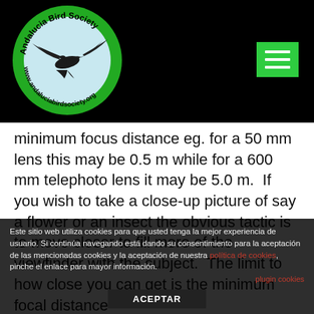[Figure (logo): Andalucia Bird Society circular logo with a bird (swift) in the center on light blue background, green border with text 'Andalucia Bird Society' and 'www.andaluciabirdsociety.org']
[Figure (other): Green hamburger menu button with three horizontal white lines on black background]
minimum focus distance eg. for a 50 mm lens this may be 0.5 m while for a 600 mm telephoto lens it may be 5.0 m. If you wish to take a close-up picture of say a flower or an insect the obvious tactic is to move closer to fill more of the viewfinder with the subject. The limit to how close you can get is the minimum focal distance
Este sitio web utiliza cookies para que usted tenga la mejor experiencia de usuario. Si continúa navegando está dando su consentimiento para la aceptación de las mencionadas cookies y la aceptación de nuestra política de cookies, pinche el enlace para mayor información.
plugin cookies
ACEPTAR